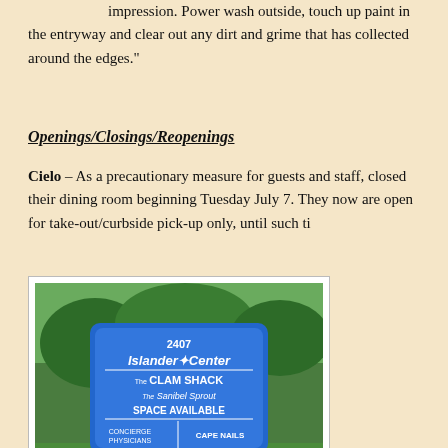impression. Power wash outside, touch up paint in the entryway and clear out any dirt and grime that has collected around the edges."
Openings/Closings/Reopenings
It is getting hard to keep track of what is open, closed, and reopened, but here is scoop on a few that I noticed this week.
[Figure (photo): A blue outdoor sign for Islander Center at 2407, listing The Clam Shack, The Sanibel Sprout, Space Available, Concierge Physicians, and Cape Nails, surrounded by green trees and grass.]
Cielo – As a precautionary measure for guests and staff, closed their dining room beginning Tuesday July 7. They now are open for take-out/curbside pick-up only, until such time as they feel the area is safe to reopen. Check their...